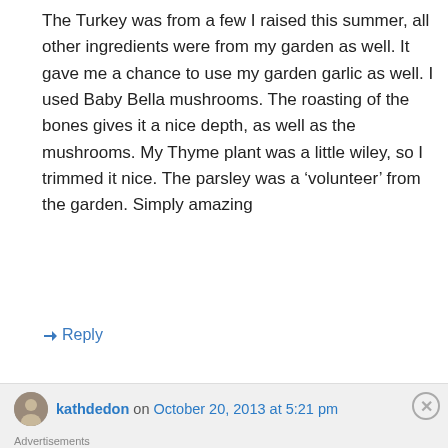The Turkey was from a few I raised this summer, all other ingredients were from my garden as well. It gave me a chance to use my garden garlic as well. I used Baby Bella mushrooms. The roasting of the bones gives it a nice depth, as well as the mushrooms. My Thyme plant was a little wiley, so I trimmed it nice. The parsley was a 'volunteer' from the garden. Simply amazing
↳ Reply
kathdedon on October 20, 2013 at 5:21 pm
[Figure (other): Seamless advertisement banner showing pizza slices with 'seamless' logo and 'ORDER NOW' button]